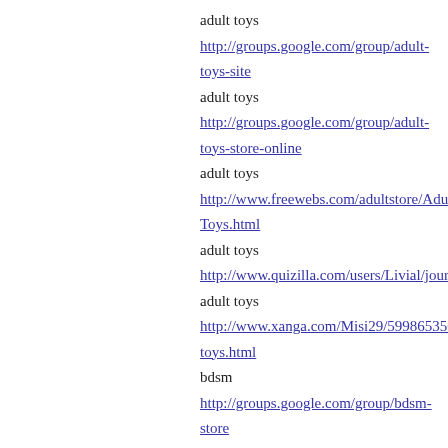adult toys http://groups.google.com/group/adult-toys-site
adult toys http://groups.google.com/group/adult-toys-store-online
adult toys http://www.freewebs.com/adultstore/Adult-Toys.html
adult toys http://www.quizilla.com/users/Livial/journal/562253/adult_t
adult toys http://www.xanga.com/Misi29/599865350/adult-toys.html
bdsm http://groups.google.com/group/bdsm-store
condom http://groups.google.com/group/condom-online
Posted by: asdas | June 26, 2007 at 04:
[Figure (illustration): Avatar image with blue geometric/web pattern]
I LIKE THIS FORUM!
Amateur Sex http://groups.google.com/group/amateur-sex-online/
oral sex http://groups.google.com/group/oral-sex-online/
lesbians sex http://groups.google.com/group/lesbians-sex/
sexy babes http://groups.google.com/group/sexy-babes-free/
asian porn http://groups.google.com/group/asian-porn-online/
asian sex http://groups.google.com/group/asian-sex-online/
teen sex http://groups.google.com/group/teen-sex-free/
NICE DESIGN!
Posted by: Silver elgato | July 03, 2007 at 03:
[Figure (illustration): Second avatar image, small, partially visible at bottom]